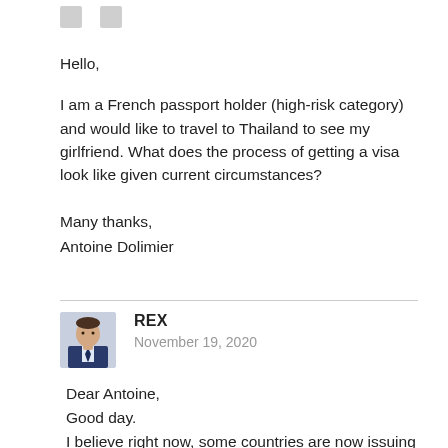Hello,
I am a French passport holder (high-risk category) and would like to travel to Thailand to see my girlfriend. What does the process of getting a visa look like given current circumstances?
Many thanks,
Antoine Dolimier
[Figure (photo): Avatar photo of REX, a man in a suit]
REX
November 19, 2020
Dear Antoine,
Good day.
I believe right now, some countries are now issuing the